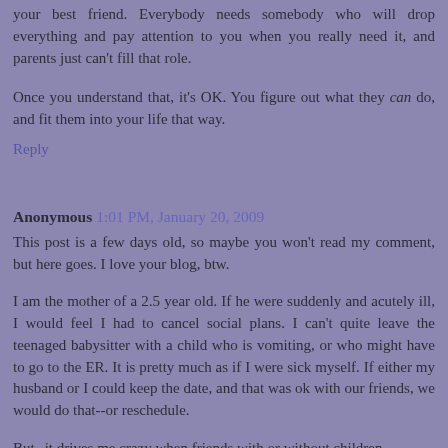your best friend. Everybody needs somebody who will drop everything and pay attention to you when you really need it, and parents just can't fill that role.
Once you understand that, it's OK. You figure out what they can do, and fit them into your life that way.
Reply
Anonymous 1:01 PM, January 20, 2009
This post is a few days old, so maybe you won't read my comment, but here goes. I love your blog, btw.
I am the mother of a 2.5 year old. If he were suddenly and acutely ill, I would feel I had to cancel social plans. I can't quite leave the teenaged babysitter with a child who is vomiting, or who might have to go to the ER. It is pretty much as if I were sick myself. If either my husband or I could keep the date, and that was ok with our friends, we would do that--or reschedule.
But--it drives me crazy when friends with or without children